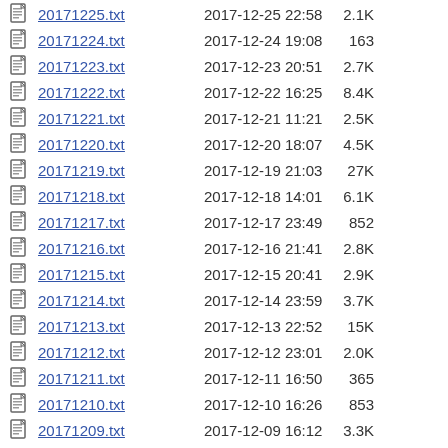20171225.txt  2017-12-25 22:58  2.1K
20171224.txt  2017-12-24 19:08  163
20171223.txt  2017-12-23 20:51  2.7K
20171222.txt  2017-12-22 16:25  8.4K
20171221.txt  2017-12-21 11:21  2.5K
20171220.txt  2017-12-20 18:07  4.5K
20171219.txt  2017-12-19 21:03  27K
20171218.txt  2017-12-18 14:01  6.1K
20171217.txt  2017-12-17 23:49  852
20171216.txt  2017-12-16 21:41  2.8K
20171215.txt  2017-12-15 20:41  2.9K
20171214.txt  2017-12-14 23:59  3.7K
20171213.txt  2017-12-13 22:52  15K
20171212.txt  2017-12-12 23:01  2.0K
20171211.txt  2017-12-11 16:50  365
20171210.txt  2017-12-10 16:26  853
20171209.txt  2017-12-09 16:12  3.3K